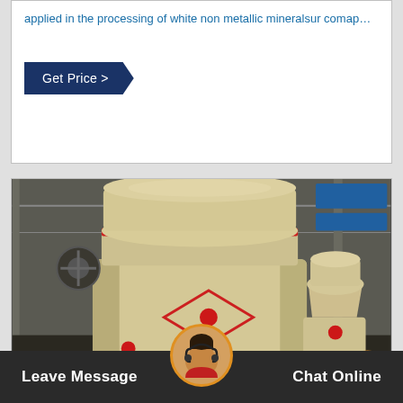applied in the processing of white non metallic mineralsur comap…
Get Price >
[Figure (photo): Industrial grinding mill machines (Raymond mills) in a factory setting. Two large cream/beige colored cylindrical vertical mills with red accent bands and valves, situated in an industrial warehouse with metal framework visible in background.]
Leave Message
Chat Online